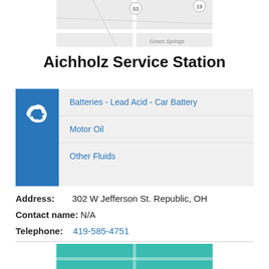[Figure (map): Partial road map showing highway 53 and Green Springs area]
Aichholz Service Station
Batteries - Lead Acid - Car Battery
Motor Oil
Other Fluids
Address: 302 W Jefferson St. Republic, OH
Contact name: N/A
Telephone: 419-585-4751
[Figure (map): Bottom partial map thumbnail with teal/green color bar]